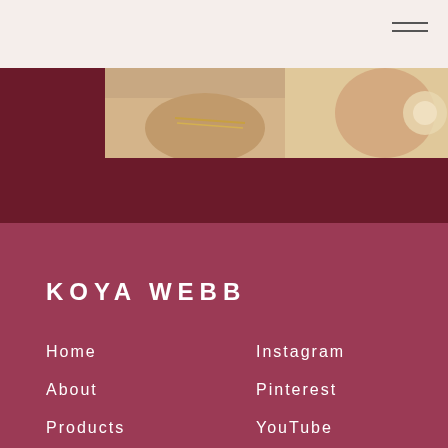[Figure (photo): Website screenshot showing top navigation bar with hamburger menu icon on the right, a photo of a person's wrist with gold bracelet jewelry against a light background, and a dark maroon hero section below]
KOYA WEBB
Home
Instagram
About
Pinterest
Products
YouTube
Contact
Twitter